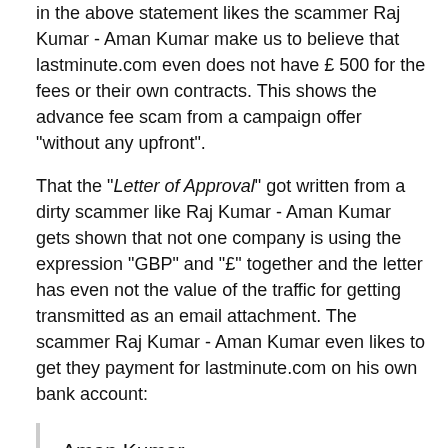in the above statement likes the scammer Raj Kumar - Aman Kumar make us to believe that lastminute.com even does not have £ 500 for the fees or their own contracts. This shows the advance fee scam from a campaign offer "without any upfront".
That the "Letter of Approval" got written from a dirty scammer like Raj Kumar - Aman Kumar gets shown that not one company is using the expression "GBP" and "£" together and the letter has even not the value of the traffic for getting transmitted as an email attachment. The scammer Raj Kumar - Aman Kumar even likes to get they payment for lastminute.com on his own bank account:
Aman Kumar
State Bank Of India
A/c No: 20209504480
IFSC CODE: sbin0001859
LUDHIANA